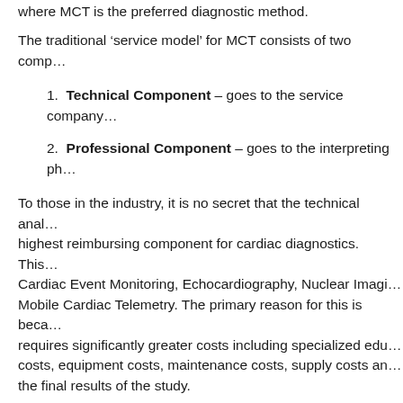where MCT is the preferred diagnostic method.
The traditional ‘service model’ for MCT consists of two comp…
Technical Component – goes to the service company…
Professional Component – goes to the interpreting ph…
To those in the industry, it is no secret that the technical anal… highest reimbursing component for cardiac diagnostics. This Cardiac Event Monitoring, Echocardiography, Nuclear Imagi… Mobile Cardiac Telemetry. The primary reason for this is beca… requires significantly greater costs including specialized edu… costs, equipment costs, maintenance costs, supply costs an… the final results of the study.
Solution: New Model for Mobile Cardiac Telemetry Reimb…
For busy Cardiology specialists, there are alternative solution… return with Mobile Cardiac Telemetry. If you look outside the… is another reimbursement structure that is emerging to more… Cardiology specialists for the time & cost required to properly… Cardiac Telemetry (MCT) reimbursement in their medical fa…